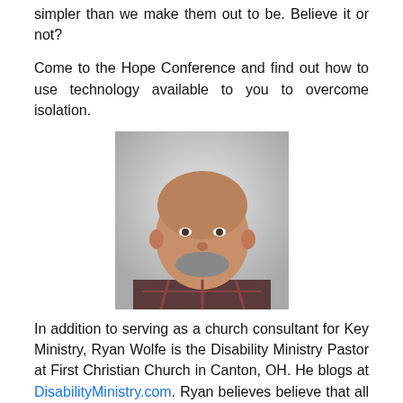simpler than we make them out to be. Believe it or not?
Come to the Hope Conference and find out how to use technology available to you to overcome isolation.
[Figure (photo): Headshot of a middle-aged man with a shaved head and short beard, smiling, wearing a plaid shirt, against a light grey gradient background.]
In addition to serving as a church consultant for Key Ministry, Ryan Wolfe is the Disability Ministry Pastor at First Christian Church in Canton, OH. He blogs at DisabilityMinistry.com. Ryan believes believe that all persons with disabilities have the right to participate in a faith community and feel valued as a community member.